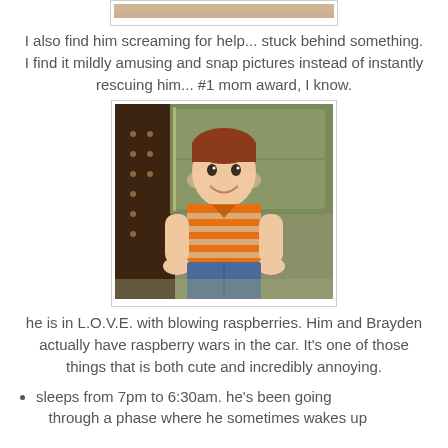[Figure (photo): Partial top strip of a photo visible at top of page — beige/tan background, appears to be a cropped portion of an earlier image]
I also find him screaming for help... stuck behind something. I find it mildly amusing and snap pictures instead of instantly rescuing him... #1 mom award, I know.
[Figure (photo): A smiling baby/toddler with reddish-brown hair wearing an orange and white striped polo shirt, sitting on a green/olive couch next to a dark brown leather chair with nail head trim. The baby is looking at the camera and smiling.]
he is in L.O.V.E. with blowing raspberries. Him and Brayden actually have raspberry wars in the car. It's one of those things that is both cute and incredibly annoying.
sleeps from 7pm to 6:30am. he's been going through a phase where he sometimes wakes up